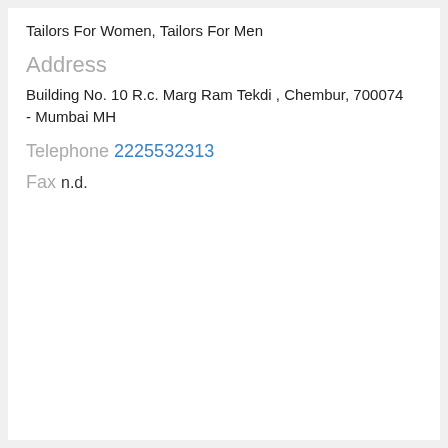Tailors For Women, Tailors For Men
Address
Building No. 10 R.c. Marg Ram Tekdi , Chembur, 700074 - Mumbai MH
Telephone 2225532313
Fax n.d.